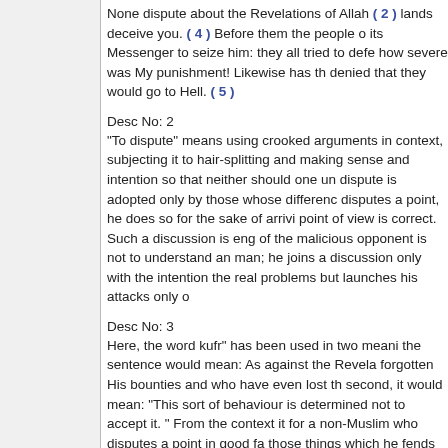None dispute about the Revelations of Allah ( 2 ) lands deceive you. ( 4 ) Before them the people of its Messenger to seize him: they all tried to defeat how severe was My punishment! Likewise has the denied that they would go to Hell. ( 5 )
Desc No: 2
"To dispute" means using crooked arguments in context, subjecting it to hair-splitting and making sense and intention so that neither should one un dispute is adopted only by those whose difference disputes a point, he does so for the sake of arrivi point of view is correct. Such a discussion is eng of the malicious opponent is not to understand an man; he joins a discussion only with the intention the real problems but launches his attacks only o
Desc No: 3
Here, the word kufr" has been used in two meani the sentence would mean: As against the Revela forgotten His bounties and who have even lost th second, it would mean: "This sort of behaviour is determined not to accept it. " From the context it for a non-Muslim who disputes a point in good fa those things which he fends hard to follow, althou does not apply to him.
Desc No: 4
There is a gap between the previous sentence ar becomes evident that those who adopt the attituo escape the punishment. Therefore, they shall ine adopting such an attitude, are strutting about the